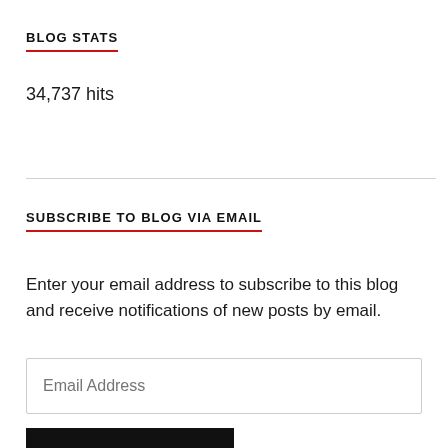BLOG STATS
34,737 hits
SUBSCRIBE TO BLOG VIA EMAIL
Enter your email address to subscribe to this blog and receive notifications of new posts by email.